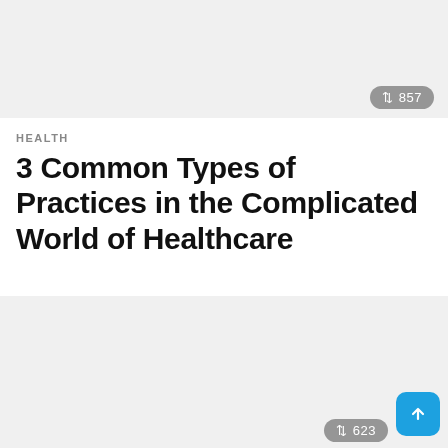[Figure (photo): Top image placeholder — light gray background image area]
⇅ 857
HEALTH
3 Common Types of Practices in the Complicated World of Healthcare
[Figure (photo): Bottom image placeholder — light gray background image area]
⇅ 623